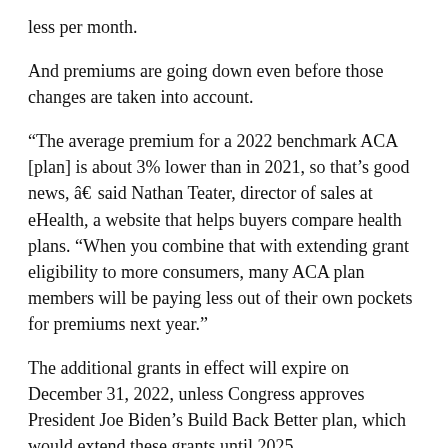less per month.
And premiums are going down even before those changes are taken into account.
“The average premium for a 2022 benchmark ACA [plan] is about 3% lower than in 2021, so that’s good news, â€ said Nathan Teater, director of sales at eHealth, a website that helps buyers compare health plans. “When you combine that with extending grant eligibility to more consumers, many ACA plan members will be paying less out of their own pockets for premiums next year.”
The additional grants in effect will expire on December 31, 2022, unless Congress approves President Joe Biden’s Build Back Better plan, which would extend these grants until 2025.
â€œThe Build Back Better Act is still pending,â€ Norris said. “But if the version that was passed by the House is enacted, there will be furthercements to the monthly affordability of…